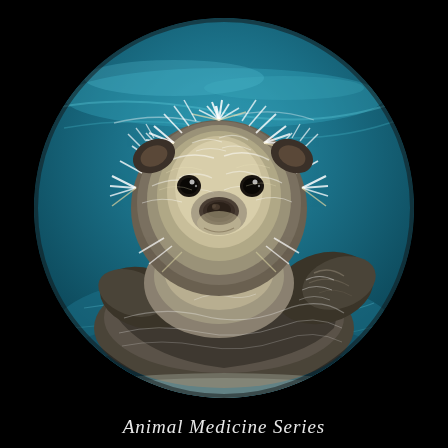[Figure (illustration): A circular watercolor illustration of a sea otter floating on its back in teal-blue water, facing the viewer with fluffy white/cream fur and dark eyes, set against a black background.]
Animal Medicine Series